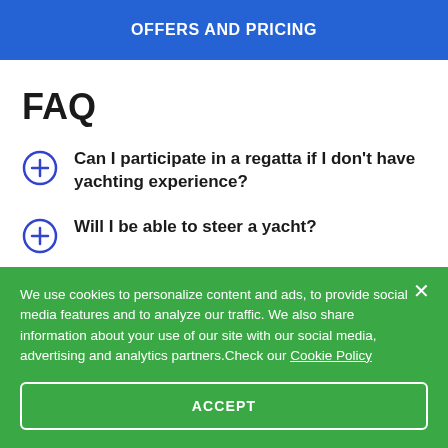OFFERS AND PRICING
FAQ
Can I participate in a regatta if I don't have yachting experience?
Will I be able to steer a yacht?
We use cookies to personalize content and ads, to provide social media features and to analyze our traffic. We also share information about your use of our site with our social media, advertising and analytics partners.Check our Cookie Policy
ACCEPT